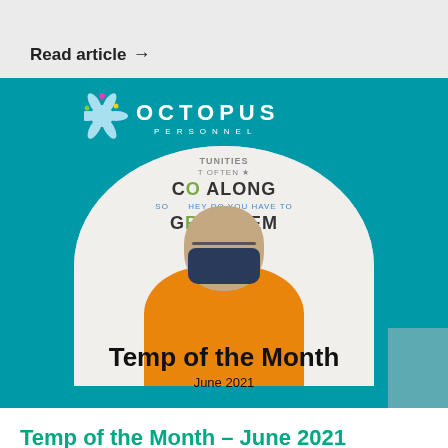Read article →
[Figure (photo): Octopus Personnel promotional image showing a person wearing a face mask and an orange shirt, standing in front of a motivational sign board. The image includes the Octopus Personnel logo at the top with text overlay reading 'Temp of the Month - June 2021'. Background is teal/turquoise.]
Temp of the Month – June 2021